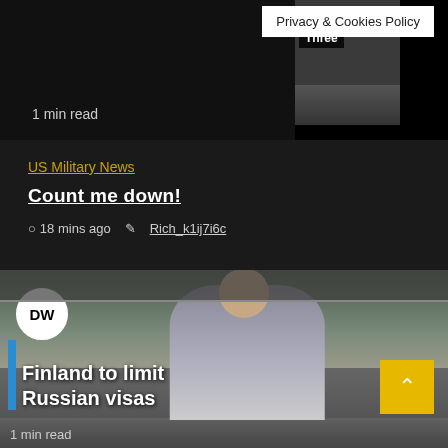[Figure (screenshot): Top article thumbnail image showing dark background with military/weapons imagery and 'Three' label overlay. 1 min read indicator visible.]
Privacy & Cookies Policy
1 min read
US Military News
Count me down!
18 mins ago   Rich_k1ij7i6c
[Figure (screenshot): DW News video thumbnail showing a reporter standing at a border crossing with text overlay 'Finland to limit Russian visas'. DW logo visible top left. Yellow scroll-up button bottom right.]
1 min read